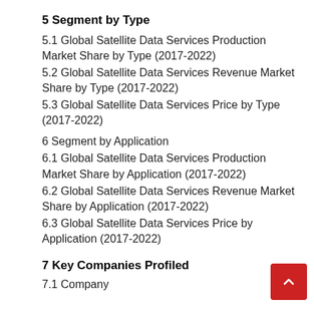5 Segment by Type
5.1 Global Satellite Data Services Production Market Share by Type (2017-2022)
5.2 Global Satellite Data Services Revenue Market Share by Type (2017-2022)
5.3 Global Satellite Data Services Price by Type (2017-2022)
6 Segment by Application
6.1 Global Satellite Data Services Production Market Share by Application (2017-2022)
6.2 Global Satellite Data Services Revenue Market Share by Application (2017-2022)
6.3 Global Satellite Data Services Price by Application (2017-2022)
7 Key Companies Profiled
7.1 Company